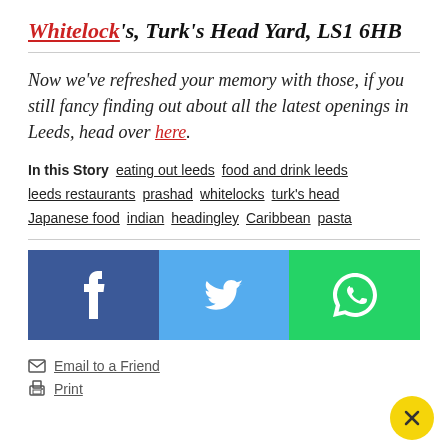Whitelock's, Turk's Head Yard, LS1 6HB
Now we've refreshed your memory with those, if you still fancy finding out about all the latest openings in Leeds, head over here.
In this Story  eating out leeds  food and drink leeds  leeds restaurants  prashad  whitelocks  turk's head  Japanese food  indian  headingley  Caribbean  pasta
[Figure (infographic): Social share buttons: Facebook (dark blue), Twitter (light blue), WhatsApp (green) each with their respective icons in white]
Email to a Friend
Print